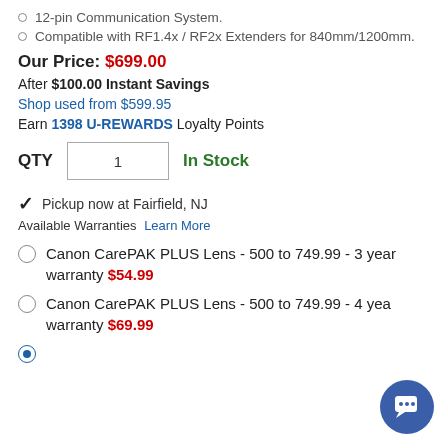12-pin Communication System.
Compatible with RF1.4x / RF2x Extenders for 840mm/1200mm.
Our Price: $699.00
After $100.00 Instant Savings
Shop used from $599.95
Earn 1398 U-REWARDS Loyalty Points
QTY 1  In Stock
Pickup now at Fairfield, NJ
Available Warranties Learn More
Canon CarePAK PLUS Lens - 500 to 749.99 - 3 year warranty $54.99
Canon CarePAK PLUS Lens - 500 to 749.99 - 4 year warranty $69.99